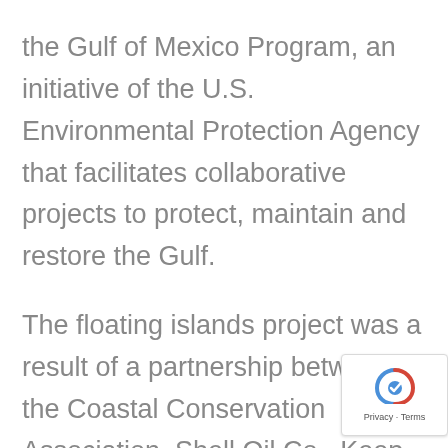the Gulf of Mexico Program, an initiative of the U.S. Environmental Protection Agency that facilitates collaborative projects to protect, maintain and restore the Gulf.

The floating islands project was a result of a partnership between the Coastal Conservation Association, Shell Oil Co., Keep Terrebonne Beautiful, Terrebonne Parish government, Terrebonne Parish School District, Martin EcoSystems and the state Department of Wildlife and Fisheries. Local Native American